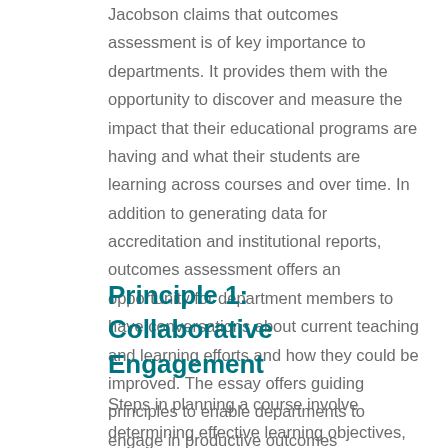Jacobson claims that outcomes assessment is of key importance to departments. It provides them with the opportunity to discover and measure the impact that their educational programs are having and what their students are learning across courses and over time. In addition to generating data for accreditation and institutional reports, outcomes assessment offers an opportunity for department members to have conversations about current teaching and learning efforts and how they could be improved. The essay offers guiding principles to enable departments to engage in productive outcomes assessment.
Principle 1: Collaborative Engagement
Steps in planning a course involve determining effective learning objectives, selecting approaches to achieve these